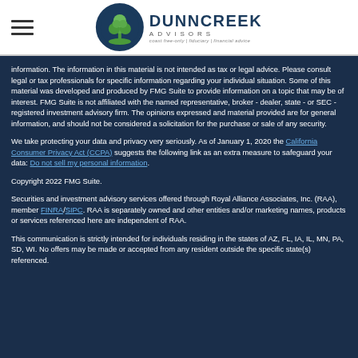Dunncreek Advisors — site header with hamburger menu and logo
information. The information in this material is not intended as tax or legal advice. Please consult legal or tax professionals for specific information regarding your individual situation. Some of this material was developed and produced by FMG Suite to provide information on a topic that may be of interest. FMG Suite is not affiliated with the named representative, broker - dealer, state - or SEC - registered investment advisory firm. The opinions expressed and material provided are for general information, and should not be considered a solicitation for the purchase or sale of any security.
We take protecting your data and privacy very seriously. As of January 1, 2020 the California Consumer Privacy Act (CCPA) suggests the following link as an extra measure to safeguard your data: Do not sell my personal information.
Copyright 2022 FMG Suite.
Securities and investment advisory services offered through Royal Alliance Associates, Inc. (RAA), member FINRA/SIPC. RAA is separately owned and other entities and/or marketing names, products or services referenced here are independent of RAA.
This communication is strictly intended for individuals residing in the states of AZ, FL, IA, IL, MN, PA, SD, WI. No offers may be made or accepted from any resident outside the specific state(s) referenced.